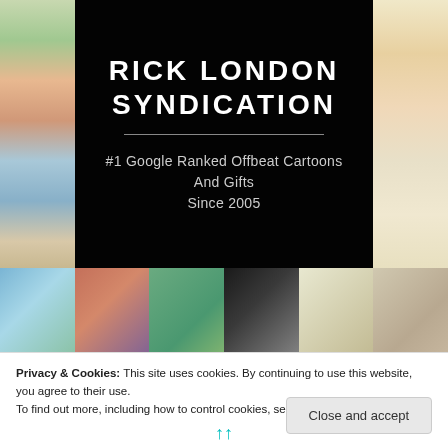[Figure (screenshot): Rick London Syndication website header with dark banner, site title, tagline, cartoon image strip, and navigation bar]
RICK LONDON SYNDICATION
#1 Google Ranked Offbeat Cartoons And Gifts Since 2005
Privacy & Cookies: This site uses cookies. By continuing to use this website, you agree to their use.
To find out more, including how to control cookies, see here: Cookie Policy
Close and accept